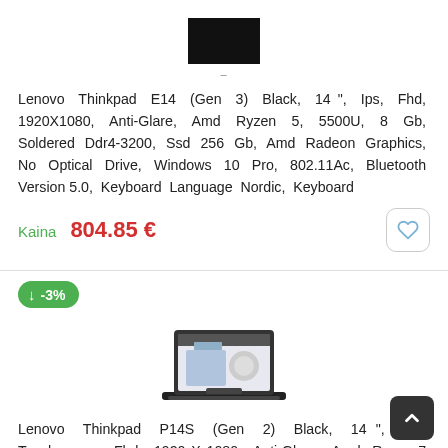[Figure (photo): Black rectangle representing a laptop screen/product image thumbnail]
Lenovo Thinkpad E14 (Gen 3) Black, 14 ", Ips, Fhd, 1920X1080, Anti-Glare, Amd Ryzen 5, 5500U, 8 Gb, Soldered Ddr4-3200, Ssd 256 Gb, Amd Radeon Graphics, No Optical Drive, Windows 10 Pro, 802.11Ac, Bluetooth Version 5.0, Keyboard Language Nordic, Keyboard
Kaina 804.85 €
[Figure (other): Green discount badge showing -3% with a downward arrow]
[Figure (photo): Lenovo ThinkPad laptop product image showing the laptop open with isometric illustration on screen]
Lenovo Thinkpad P14S (Gen 2) Black, 14 ", Ips, Touchscreen, Fhd, 1920 X 1080, Anti-Glare, Amd Ryzen 7 Pro, 7 Pro 5850U, 16 Gb, Ssd 512 Gb, Amd Radeon Graphics, No Optical Drive, Windows 10 Pro, 802.11Ax,